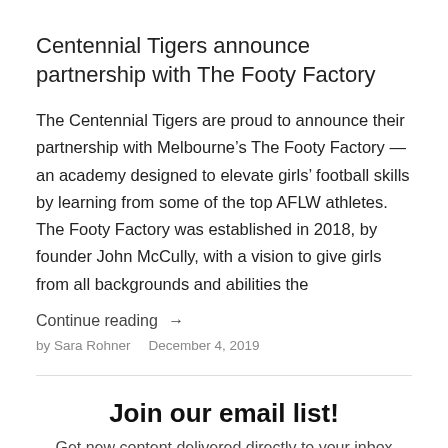Centennial Tigers announce partnership with The Footy Factory
The Centennial Tigers are proud to announce their partnership with Melbourne’s The Footy Factory — an academy designed to elevate girls’ football skills by learning from some of the top AFLW athletes. The Footy Factory was established in 2018, by founder John McCully, with a vision to give girls from all backgrounds and abilities the
Continue reading →
by Sara Rohner   December 4, 2019
Join our email list!
Get new content delivered directly to your inbox